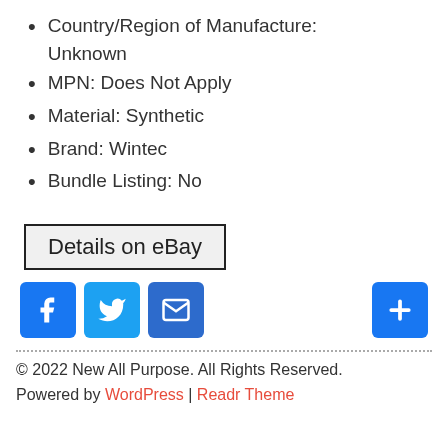Country/Region of Manufacture: Unknown
MPN: Does Not Apply
Material: Synthetic
Brand: Wintec
Bundle Listing: No
[Figure (other): Details on eBay button - a rectangular bordered button with light gray background]
[Figure (other): Social share icons row: Facebook (blue), Twitter (blue), Email (blue), and a blue plus button on the right]
© 2022 New All Purpose. All Rights Reserved.
Powered by WordPress | Readr Theme